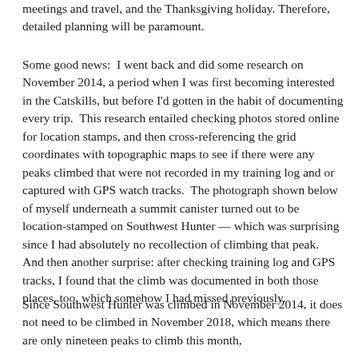meetings and travel, and the Thanksgiving holiday. Therefore, detailed planning will be paramount.
Some good news:  I went back and did some research on November 2014, a period when I was first becoming interested in the Catskills, but before I'd gotten in the habit of documenting every trip.  This research entailed checking photos stored online for location stamps, and then cross-referencing the grid coordinates with topographic maps to see if there were any peaks climbed that were not recorded in my training log and or captured with GPS watch tracks.  The photograph shown below of myself underneath a summit canister turned out to be location-stamped on Southwest Hunter — which was surprising since I had absolutely no recollection of climbing that peak.  And then another surprise: after checking training log and GPS tracks, I found that the climb was documented in both those places, too, which somehow I had missed previously.
Since Southwest Hunter was climbed in November 2014, it does not need to be climbed in November 2018, which means there are only nineteen peaks to climb this month,